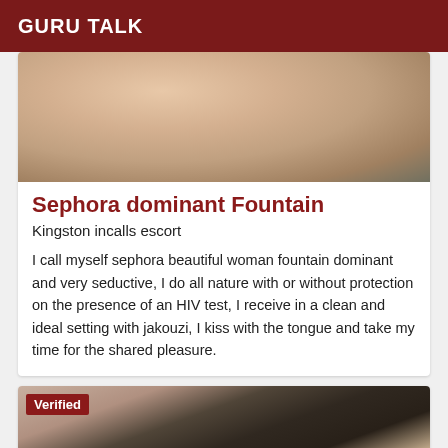GURU TALK
[Figure (photo): Partial view of a person, cropped image showing torso/body area]
Sephora dominant Fountain
Kingston incalls escort
I call myself sephora beautiful woman fountain dominant and very seductive, I do all nature with or without protection on the presence of an HIV test, I receive in a clean and ideal setting with jakouzi, I kiss with the tongue and take my time for the shared pleasure.
[Figure (photo): Photo of a woman in a patterned black and white top, with a Verified badge overlay]